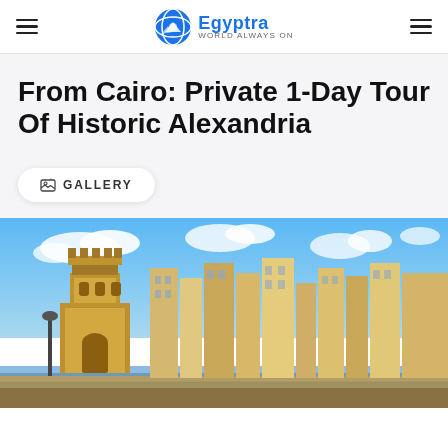Egyptra — World always on
From Cairo: Private 1-Day Tour Of Historic Alexandria
GALLERY
[Figure (photo): Panoramic view of Alexandria waterfront skyline with historic tower/gate structure on the left, modern buildings, and blue sky with clouds]